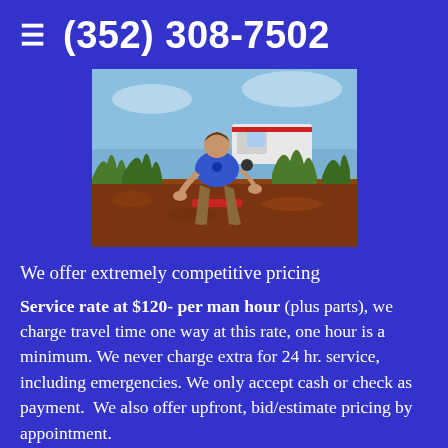≡  (352) 308-7502
[Figure (photo): A man in a blue shirt crouching down in a garden/landscaping area, working with irrigation or sprinkler equipment among grass and red mulch, with a white truck visible in the background.]
We offer extremely competitive pricing
Service rate at $120- per man hour (plus parts), we charge travel time one way at this rate, one hour is a minimum. We never charge extra for 24 hr. service, including emergencies. We only accept cash or check as payment.  We also offer upfront, bid/estimate pricing by appointment.